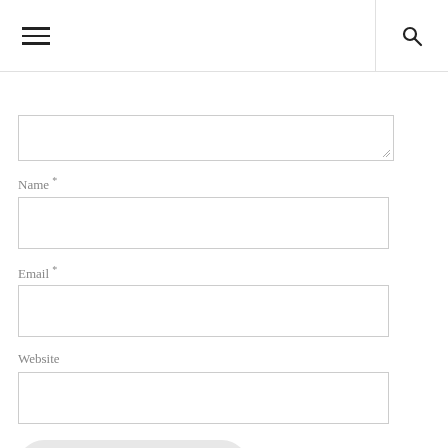☰  🔍
[Figure (screenshot): Textarea input field (partially visible, top-cropped) for comment text]
Name *
[Figure (screenshot): Name input field (empty text box)]
Email *
[Figure (screenshot): Email input field (empty text box)]
Website
[Figure (screenshot): Website input field (empty text box)]
POST COMMENT
This site uses Akismet to reduce spam.
Learn how your comment data is